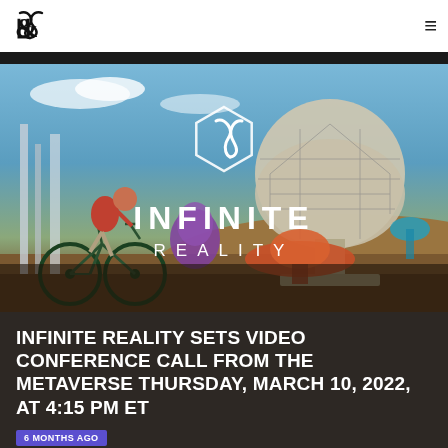Infinite Reality — navigation bar with logo and hamburger menu
[Figure (photo): Hero image showing a futuristic metaverse landscape with a geodesic dome structure, a person on a bicycle in the foreground, and the 'Infinite Reality' logo in white text centered on the image]
INFINITE REALITY SETS VIDEO CONFERENCE CALL FROM THE METAVERSE THURSDAY, MARCH 10, 2022, AT 4:15 PM ET